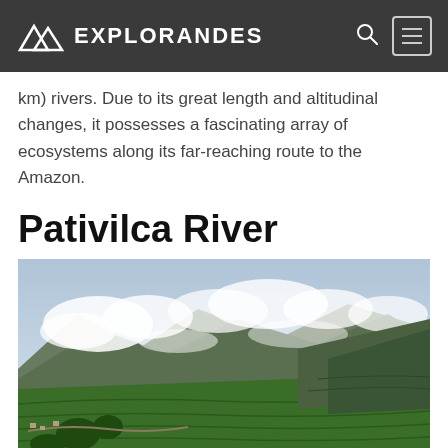EXPLORANDES
km) rivers. Due to its great length and altitudinal changes, it possesses a fascinating array of ecosystems along its far-reaching route to the Amazon.
Pativilca River
[Figure (photo): Aerial view of green terraced mountain landscape with clouds and mist over Andean mountain range, with small village visible in the valley below.]